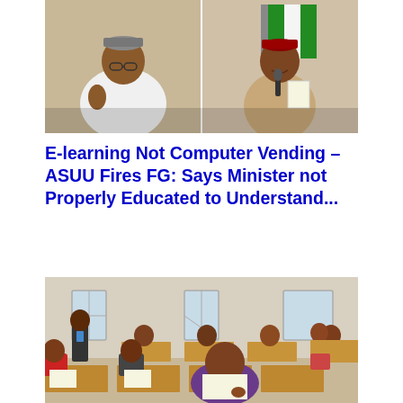[Figure (photo): Two men at a press or official event. On the left, an older man in a white agbada and cap giving a thumbs up gesture. On the right, a younger man in a tan/khaki kaftan wearing a red cap and holding a microphone and papers, speaking.]
E-learning Not Computer Vending – ASUU Fires FG: Says Minister not Properly Educated to Understand...
[Figure (photo): Students (secondary school age) sitting at wooden desks in a classroom, writing an examination. A teacher/supervisor in the background stands near the window. Multiple students visible filling out papers.]